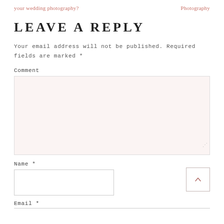your wedding photography?    Photography
LEAVE A REPLY
Your email address will not be published. Required fields are marked *
Comment
Name *
Email *